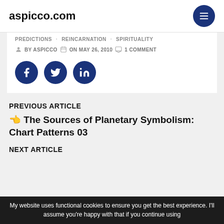aspicco.com
PREDICTIONS   REINCARNATION   SPIRITUALITY
BY ASPICCO   ON MAY 26, 2010   1 COMMENT
[Figure (other): Social share buttons: Facebook, Twitter, LinkedIn]
PREVIOUS ARTICLE
👈 The Sources of Planetary Symbolism: Chart Patterns 03
NEXT ARTICLE
My website uses functional cookies to ensure you get the best experience. I'll assume you're happy with that if you continue using